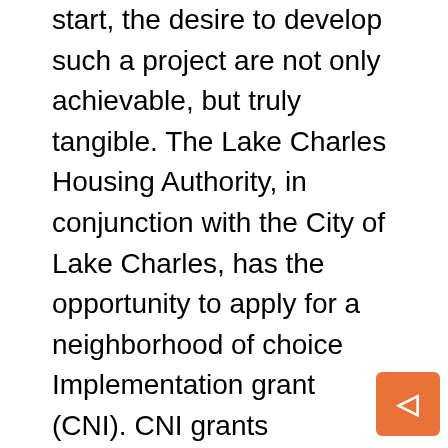start, the desire to develop such a project are not only achievable, but truly tangible. The Lake Charles Housing Authority, in conjunction with the City of Lake Charles, has the opportunity to apply for a neighborhood of choice Implementation grant (CNI). CNI grants skyrocketed in 2022 to a maximum of $50 million per project. With CNI funding, the downtown can develop housing, services and supports to create a truly diverse and economically prosperous community. This would provide much-needed dollars to line up with our long list of draft champions and cheerleaders.
A $30.5 million grant from CNI in 2011 transformed New Orleans' last concentrated public housing complex. Since the grant was